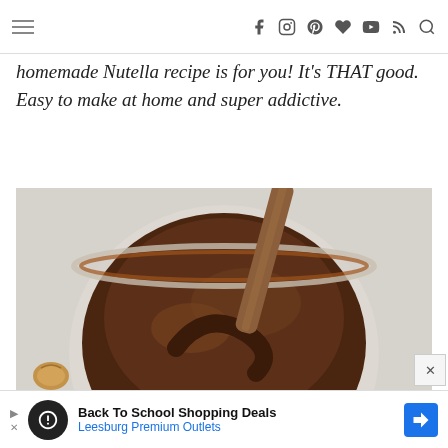Navigation header with hamburger menu and social/search icons
homemade Nutella recipe is for you! It's THAT good. Easy to make at home and super addictive.
[Figure (photo): Overhead view of a glass jar filled with homemade chocolate hazelnut spread (Nutella), with a wooden spoon stirring it. A hazelnut is visible in the bottom left corner. The background is light gray/white.]
Back To School Shopping Deals Leesburg Premium Outlets (advertisement)